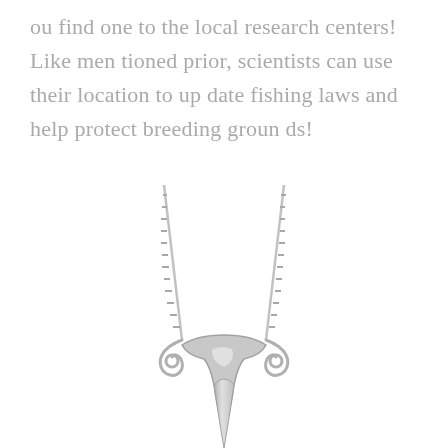ou find one to the local research centers! Like mentioned prior, scientists can use their location to update fishing laws and help protect breeding grounds!
[Figure (photo): A silver necklace pendant shaped like a stylized fish or squid skeleton/otolith with two curled ends and a chain attached, shown on a white background.]